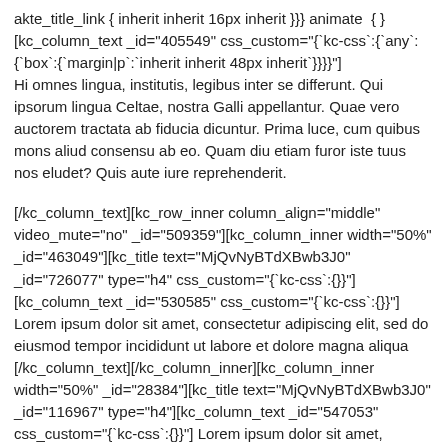akte_title_link { inherit inherit 16px inherit }}} animate { } [kc_column_text _id="405549" css_custom="{`kc-css`:{`any`:{`box`:{`margin|p`:`inherit inherit 48px inherit`}}}}"] Hi omnes lingua, institutis, legibus inter se differunt. Qui ipsorum lingua Celtae, nostra Galli appellantur. Quae vero auctorem tractata ab fiducia dicuntur. Prima luce, cum quibus mons aliud consensu ab eo. Quam diu etiam furor iste tuus nos eludet? Quis aute iure reprehenderit.
[/kc_column_text][kc_row_inner column_align="middle" video_mute="no" _id="509359"][kc_column_inner width="50%" _id="463049"][kc_title text="MjQvNyBTdXBwb3J0" _id="726077" type="h4" css_custom="{`kc-css`:{}}"] [kc_column_text _id="530585" css_custom="{`kc-css`:{}}"] Lorem ipsum dolor sit amet, consectetur adipiscing elit, sed do eiusmod tempor incididunt ut labore et dolore magna aliqua [/kc_column_text][/kc_column_inner][kc_column_inner width="50%" _id="28384"][kc_title text="MjQvNyBTdXBwb3J0" _id="116967" type="h4"][kc_column_text _id="547053" css_custom="{`kc-css`:{}}"] Lorem ipsum dolor sit amet, consectetur adipiscing elit,